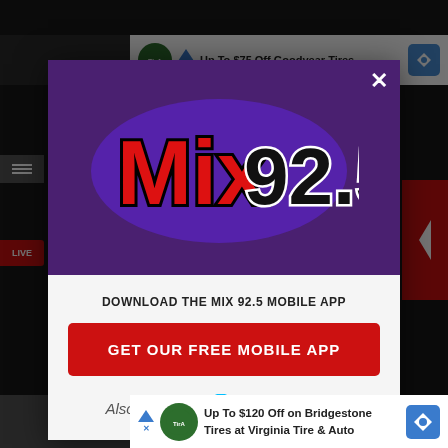[Figure (screenshot): Screenshot of a webpage with a modal popup for Mix 92.5 radio station mobile app download. Background shows a dark browser page with Goodyear Tires advertisement. Modal has a purple header with Mix 92.5 logo, white body with download text, red button reading 'GET OUR FREE MOBILE APP', and an Amazon Alexa listening option. Bottom shows Bridgestone Tires advertisement.]
DOWNLOAD THE MIX 92.5 MOBILE APP
GET OUR FREE MOBILE APP
Also listen on:  amazon alexa